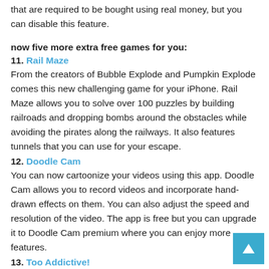that are required to be bought using real money, but you can disable this feature.
now five more extra free games for you:
11. Rail Maze
From the creators of Bubble Explode and Pumpkin Explode comes this new challenging game for your iPhone. Rail Maze allows you to solve over 100 puzzles by building railroads and dropping bombs around the obstacles while avoiding the pirates along the railways. It also features tunnels that you can use for your escape.
12. Doodle Cam
You can now cartoonize your videos using this app. Doodle Cam allows you to record videos and incorporate hand-drawn effects on them. You can also adjust the speed and resolution of the video. The app is free but you can upgrade it to Doodle Cam premium where you can enjoy more features.
13. Too Addictive!
It is basically a free or a LITE version of the iPhone game “Cover Orange” where your goal is to drag objects to create barriers to cover the oranges and protect them from the harmful and toxic cloud. The free version offers ten levels of gameplay. It may